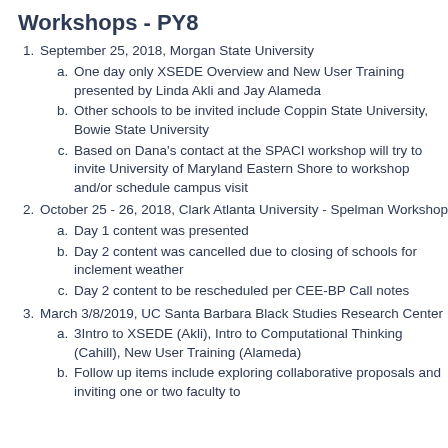Workshops - PY8
September 25, 2018, Morgan State University
One day only XSEDE Overview and New User Training presented by Linda Akli and Jay Alameda
Other schools to be invited include Coppin State University, Bowie State University
Based on Dana's contact at the SPACI workshop will try to invite University of Maryland Eastern Shore to workshop and/or schedule campus visit
October 25 - 26, 2018, Clark Atlanta University - Spelman Workshop
Day 1 content was presented
Day 2 content was cancelled due to closing of schools for inclement weather
Day 2 content to be rescheduled per CEE-BP Call notes
March 3/8/2019, UC Santa Barbara Black Studies Research Center
3Intro to XSEDE (Akli), Intro to Computational Thinking (Cahill), New User Training (Alameda)
Follow up items include exploring collaborative proposals and inviting one or two faculty to